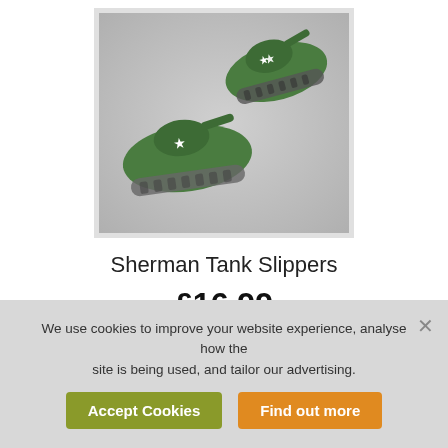[Figure (photo): A pair of green Sherman Tank novelty slippers shaped like military tanks with white stars, photographed on a light grey background.]
Sherman Tank Slippers
£16.99
View product
We use cookies to improve your website experience, analyse how the site is being used, and tailor our advertising.
Accept Cookies
Find out more